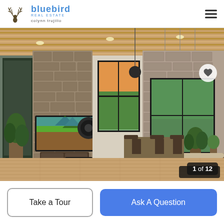colynn trujillo | bluebird real estate
[Figure (photo): Interior photo of a luxury open-plan living room with stone fireplace wall, TV mounted, wooden slatted ceiling, pendant lights, dining area and kitchen island in background. Hardwood floors throughout.]
1 of 12
Take a Tour
Ask A Question